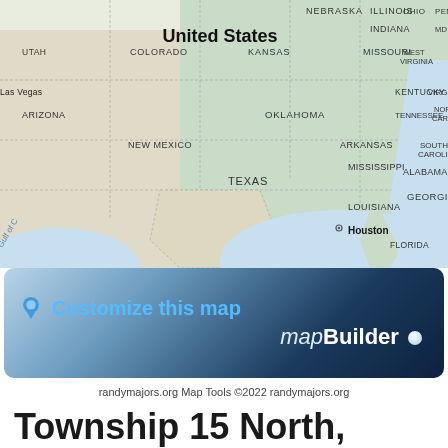[Figure (map): Map of the United States showing state boundaries and labels including Nebraska, Illinois, Ohio, Penn, Indiana, Utah, Colorado, Kansas, Missouri, West Virginia, Maryland, Las Vegas, Arizona, New Mexico, Oklahoma, Kentucky, Virginia, Tennessee, North Carolina, Arkansas, South Carolina, Mississippi, Alabama, Georgia, Texas, Louisiana, Florida, Gulf of C(alifornia), with Houston marked with a dot. The map uses a light green/beige color scheme with blue water bodies.]
[Figure (infographic): MapBuilder promotional banner with blue gradient background. Shows a location pin icon followed by 'Customize this map' in blue text, and 'mapBuilder' branding with a small dot on the right side.]
randymajors.org Map Tools ©2022 randymajors.org
Township 15 North, Range 10 East, 4th Principal Meridian,